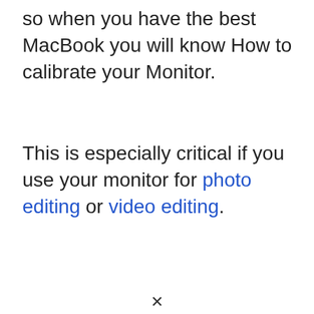so when you have the best MacBook you will know How to calibrate your Monitor.
This is especially critical if you use your monitor for photo editing or video editing.